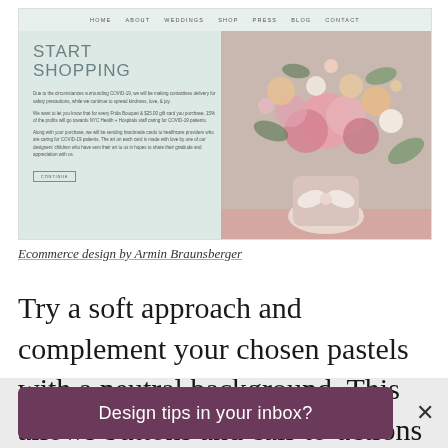[Figure (screenshot): Screenshot of an ecommerce florist website showing a navigation bar with links HOME, ABOUT, WEDDINGS, SHOP, PRESS, BLOG, CONTACT, a hero section with text START SHOPPING and body paragraphs about COVID-19 delivery and charitable giving, a CONTINUE button, and a large floral bouquet photo on the right side with a pink strip at the bottom.]
Ecommerce design by Armin Braunsberger
Try a soft approach and complement your chosen pastels with a neutral background. This allows buttons and call-to-actions to pop
Design tips in your inbox?